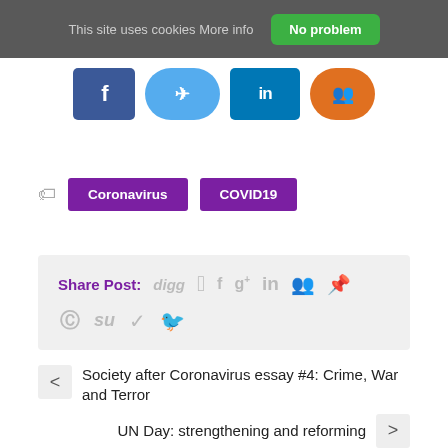This site uses cookies More info   No problem
[Figure (illustration): Social media share icons: Facebook (dark blue), Twitter (light blue rounded), LinkedIn (dark blue), and an orange rounded icon, partially visible at the top of the page]
Coronavirus
COVID19
Share Post: digg f g+ in [myspace] p [reddit] [stumbleupon] [twitter]
Society after Coronavirus essay #4: Crime, War and Terror
UN Day: strengthening and reforming